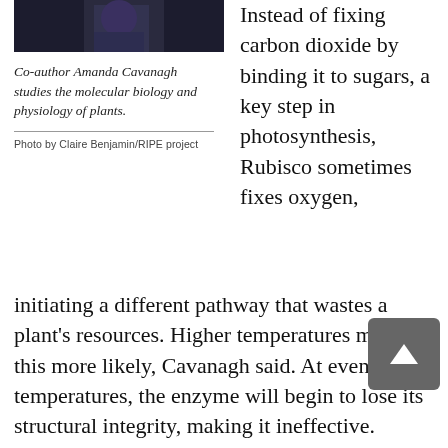[Figure (photo): Dark photo of co-author Amanda Cavanagh, cropped at top]
Co-author Amanda Cavanagh studies the molecular biology and physiology of plants.
Photo by Claire Benjamin/RIPE project
Instead of fixing carbon dioxide by binding it to sugars, a key step in photosynthesis, Rubisco sometimes fixes oxygen, initiating a different pathway that wastes a plant’s resources. Higher temperatures make this more likely, Cavanagh said. At even higher temperatures, the enzyme will begin to lose its structural integrity, making it ineffective.
Excessive heat can also undermine a plant’s reproductive output. Other heat-sensitive enzymes are essential to the light-harvesting machinery of plants or play a role in moving sugars to different plant tissues, allowing the plant to grow and produce grains or fruits.
“If these little molecular machines are pushed out of the